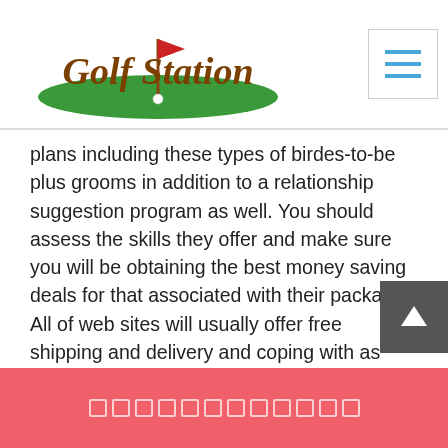[Figure (logo): Golf Station logo with golf course green and flag, brown italic text]
plans including these types of birdes-to-be plus grooms in addition to a relationship suggestion program as well. You should assess the skills they offer and make sure you will be obtaining the best money saving deals for that associated with their package. All of web sites will usually offer free shipping and delivery and coping with as well. Take into account that when it comes to selecting a good abroad brides to be web-site, you need to make certain you are getting your current wedding adviser and even qualification from a web page that gives settlement choices including PayPal, Neteller, or Australian visa gift cards.
□□□□□□□□□□□□